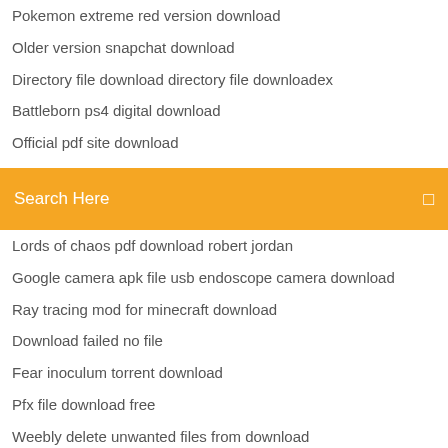Pokemon extreme red version download
Older version snapchat download
Directory file download directory file downloadex
Battleborn ps4 digital download
Official pdf site download
Usb audio codec driver download mac
Fl studio 12 new skin free download
Search Here
Lords of chaos pdf download robert jordan
Google camera apk file usb endoscope camera download
Ray tracing mod for minecraft download
Download failed no file
Fear inoculum torrent download
Pfx file download free
Weebly delete unwanted files from download
Download drivers for hp g500
It comes at night torrent download
Tank when we clean version mp3 download